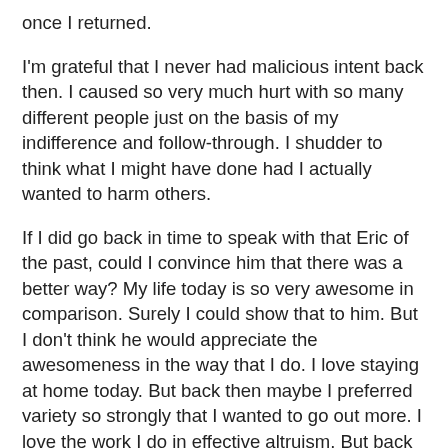once I returned.
I'm grateful that I never had malicious intent back then. I caused so very much hurt with so many different people just on the basis of my indifference and follow-through. I shudder to think what I might have done had I actually wanted to harm others.
If I did go back in time to speak with that Eric of the past, could I convince him that there was a better way? My life today is so very awesome in comparison. Surely I could show that to him. But I don't think he would appreciate the awesomeness in the way that I do. I love staying at home today. But back then maybe I preferred variety so strongly that I wanted to go out more. I love the work I do in effective altruism. But back then I would have expressed indifference toward helping others in general, except insofar as it might have helped myself. Today, I love my relationship with Katherine, who makes my life brighten in so many different ways. But the me of the past would have objected on several grounds, not the least of which would be that I expend actual effort in helping to make the other person in the relationship